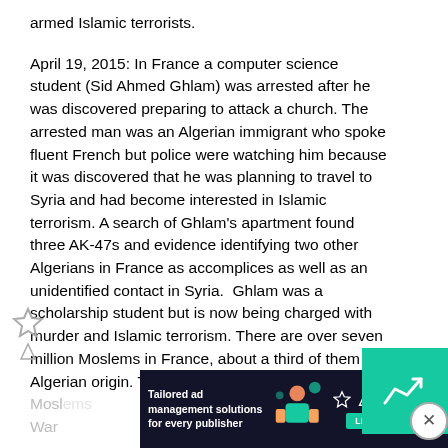armed Islamic terrorists.
April 19, 2015: In France a computer science student (Sid Ahmed Ghlam) was arrested after he was discovered preparing to attack a church. The arrested man was an Algerian immigrant who spoke fluent French but police were watching him because it was discovered that he was planning to travel to Syria and had become interested in Islamic terrorism. A search of Ghlam's apartment found three AK-47s and evidence identifying two other Algerians in France as accomplices as well as an unidentified contact in Syria.  Ghlam was a scholarship student but is now being charged with murder and Islamic terrorism. There are over seven million Moslems in France, about a third of them of Algerian origin. The large scale movement of Moslems [faded text continues]... War [faded text continues]...
[Figure (infographic): Advertisement banner at the bottom of the page. Dark background with text 'Tailored ad management solutions for every publisher', a decorative illustration, Freestar logo, and a 'LEARN MORE' button. Overlaid by a teal/green box with a chart icon in the top right corner, and a close (X) circle button.]